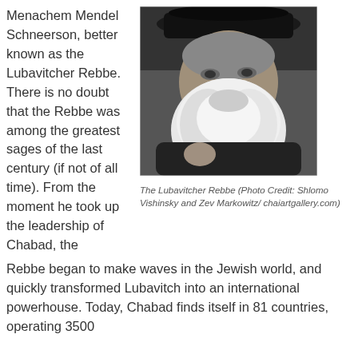Menachem Mendel Schneerson, better known as the Lubavitcher Rebbe. There is no doubt that the Rebbe was among the greatest sages of the last century (if not of all time). From the moment he took up the leadership of Chabad, the Rebbe began to make waves in the Jewish world, and quickly transformed Lubavitch into an international powerhouse. Today, Chabad finds itself in 81 countries, operating 3500
[Figure (photo): Black and white portrait photograph of the Lubavitcher Rebbe, an elderly man with a large white beard wearing a dark hat, looking slightly to the side.]
The Lubavitcher Rebbe (Photo Credit: Shlomo Vishinsky and Zev Markowitz/ chaiartgallery.com)